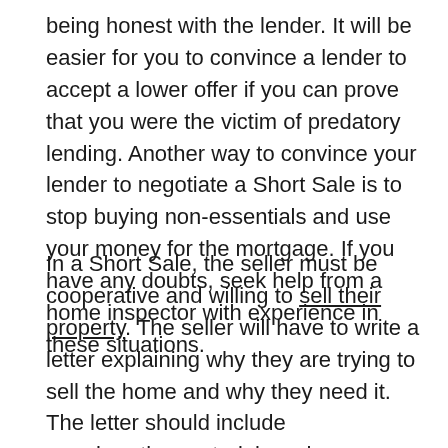being honest with the lender. It will be easier for you to convince a lender to accept a lower offer if you can prove that you were the victim of predatory lending. Another way to convince your lender to negotiate a Short Sale is to stop buying non-essentials and use your money for the mortgage. If you have any doubts, seek help from a home inspector with experience in these situations.
In a Short Sale, the seller must be cooperative and willing to sell their property. The seller will have to write a letter explaining why they are trying to sell the home and why they need it. The letter should include corroborating material, such as termination letters, medical bills, and other financial documents. It is crucial to explain why the short